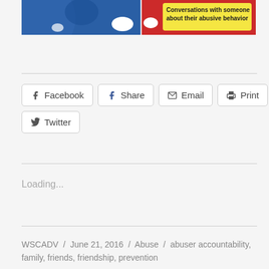[Figure (illustration): Partial comic-style image: blue panel on the left showing a character, red panel on the right with a yellow speech bubble reading 'Conversations with someone about their abusive behavior']
Facebook  Share  Email  Print  Twitter
Loading...
WSCADV / June 21, 2016 / Abuse / abuser accountability, family, friends, friendship, prevention